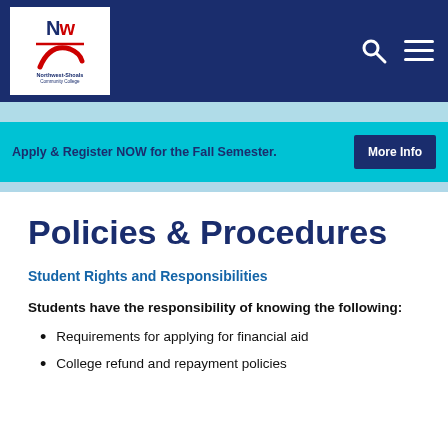[Figure (logo): Northwest-Shoals Community College logo with NW monogram and red swoosh on white background, set in dark navy header bar with search and menu icons]
Apply & Register NOW for the Fall Semester.
More Info
Policies & Procedures
Student Rights and Responsibilities
Students have the responsibility of knowing the following:
Requirements for applying for financial aid
College refund and repayment policies